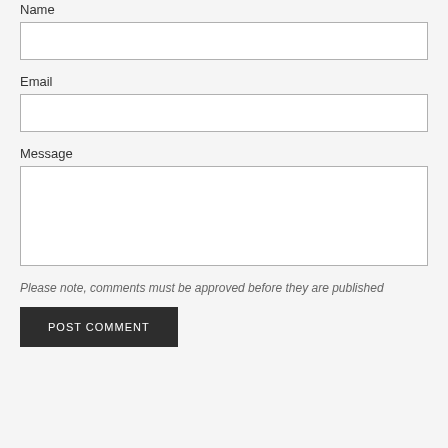Name
[Figure (other): Name input text field (empty)]
Email
[Figure (other): Email input text field (empty)]
Message
[Figure (other): Message textarea input field (empty)]
Please note, comments must be approved before they are published
POST COMMENT